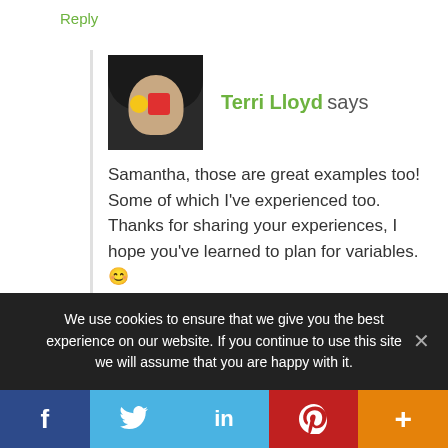Reply
Terri Lloyd says
[Figure (photo): Avatar photo of Terri Lloyd, dark background, partially obscured face]
Samantha, those are great examples too! Some of which I've experienced too. Thanks for sharing your experiences, I hope you've learned to plan for variables. 🙂
Reply
We use cookies to ensure that we give you the best experience on our website. If you continue to use this site we will assume that you are happy with it.